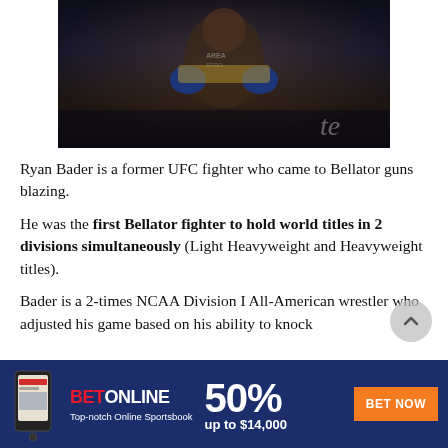[Figure (photo): Ryan Bader MMA fighter holding championship belts, wearing blue gloves and black shirt, dark arena background]
Ryan Bader is a former UFC fighter who came to Bellator guns blazing.
He was the first Bellator fighter to hold world titles in 2 divisions simultaneously (Light Heavyweight and Heavyweight titles).
Bader is a 2-times NCAA Division I All-American wrestler who adjusted his game based on his ability to knock
[Figure (infographic): BetOnline advertisement banner: BET in red, ONLINE in white, Top-notch Online Sportsbook, 50% up to $14,000, BET NOW button in orange, phone image on left]